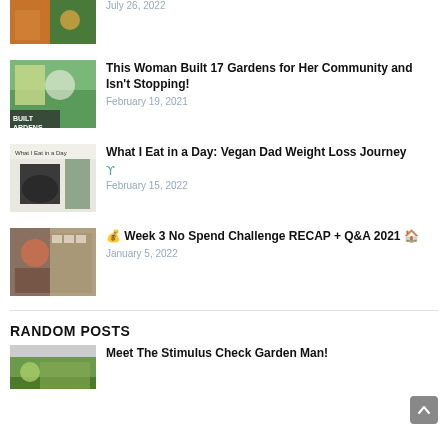July 26, 2022
This Woman Built 17 Gardens for Her Community and Isn't Stopping!
February 19, 2021
What I Eat in a Day: Vegan Dad Weight Loss Journey
February 15, 2022
💰 Week 3 No Spend Challenge RECAP + Q&A 2021 🏠
January 5, 2022
RANDOM POSTS
Meet The Stimulus Check Garden Man!